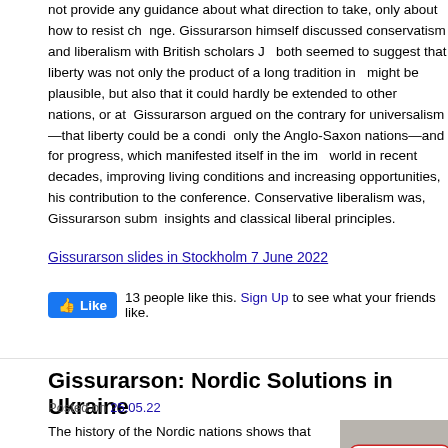not provide any guidance about what direction to take, only about how to resist change. Gissurarson himself discussed conservatism and liberalism with British scholars. Both seemed to suggest that liberty was not only the product of a long tradition in might be plausible, but also that it could hardly be extended to other nations, or at all. Gissurarson argued on the contrary for universalism—that liberty could be a condition for not only the Anglo-Saxon nations—and for progress, which manifested itself in the improvement of world in recent decades, improving living conditions and increasing opportunities. This was his contribution to the conference. Conservative liberalism was, Gissurarson submitted, conservative insights and classical liberal principles.
Gissurarson slides in Stockholm 7 June 2022
13 people like this. Sign Up to see what your friends like.
Gissurarson: Nordic Solutions in Ukraine
Posted on 25.05.22
The history of the Nordic nations shows that the conflict in Ukraine could be solved, RNH Academic Director, Professor Hannes H. Gissurarson, said in an interview by Magnus Thor
[Figure (photo): Photograph showing what appears to be a logo or sign with red, white, and blue colors, partially visible. The word 'Útv' is visible on the sign.]